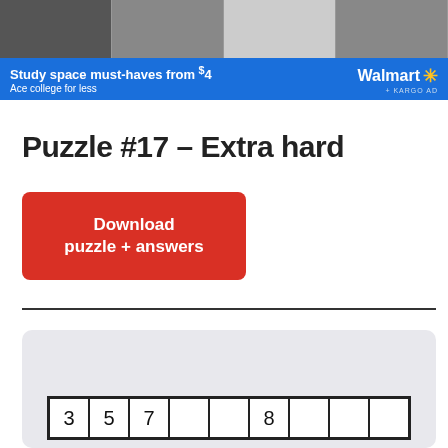[Figure (screenshot): Walmart advertisement banner showing study space products with blue background, Walmart logo with spark, and text 'Study space must-haves from $4 / Ace college for less']
Puzzle #17 – Extra hard
[Figure (other): Red download button with text 'Download puzzle + answers']
[Figure (other): Puzzle grid showing a row with cells containing: 3, 5, 7, (empty), (empty), 8, (empty), (empty), (empty)]